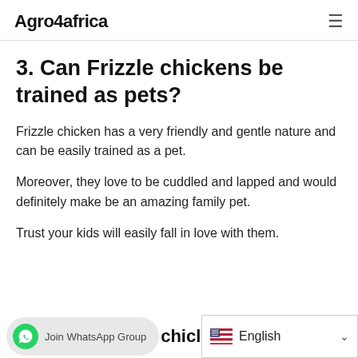Agro4africa
3. Can Frizzle chickens be trained as pets?
Frizzle chicken has a very friendly and gentle nature and can be easily trained as a pet.
Moreover, they love to be cuddled and lapped and would definitely make be an amazing family pet.
Trust your kids will easily fall in love with them.
Join WhatsApp Group  chicl  English